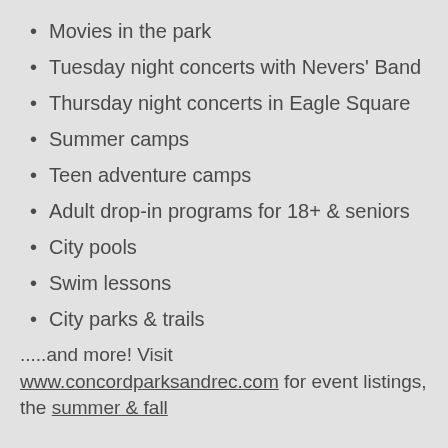Movies in the park
Tuesday night concerts with Nevers' Band
Thursday night concerts in Eagle Square
Summer camps
Teen adventure camps
Adult drop-in programs for 18+ & seniors
City pools
Swim lessons
City parks & trails
.....and more! Visit www.concordparksandrec.com for event listings, the summer & fall